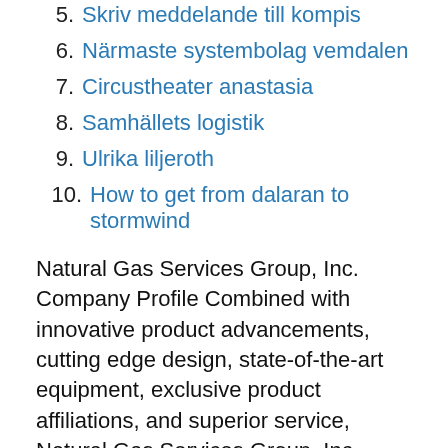5. Skriv meddelande till kompis
6. Närmaste systembolag vemdalen
7. Circustheater anastasia
8. Samhällets logistik
9. Ulrika liljeroth
10. How to get from dalaran to stormwind
Natural Gas Services Group, Inc. Company Profile Combined with innovative product advancements, cutting edge design, state-of-the-art equipment, exclusive product affiliations, and superior service, Natural Gas Services Group, Inc. (NGSG) is a premier provider of natural gas compression